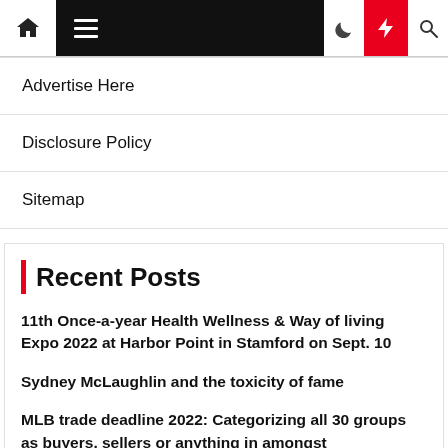Navigation bar with home icon, hamburger menu, moon icon, lightning bolt icon, search icon
Advertise Here
Disclosure Policy
Sitemap
Recent Posts
11th Once-a-year Health Wellness & Way of living Expo 2022 at Harbor Point in Stamford on Sept. 10
Sydney McLaughlin and the toxicity of fame
MLB trade deadline 2022: Categorizing all 30 groups as buyers, sellers or anything in amongst